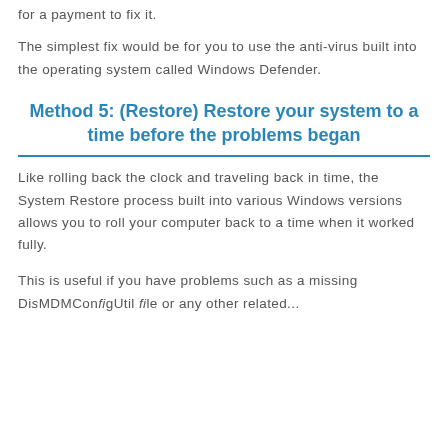for a payment to fix it.
The simplest fix would be for you to use the anti-virus built into the operating system called Windows Defender.
Method 5: (Restore) Restore your system to a time before the problems began
Like rolling back the clock and traveling back in time, the System Restore process built into various Windows versions allows you to roll your computer back to a time when it worked fully.
This is useful if you have problems such as a missing DisMDMConfigUtil file or any other related...